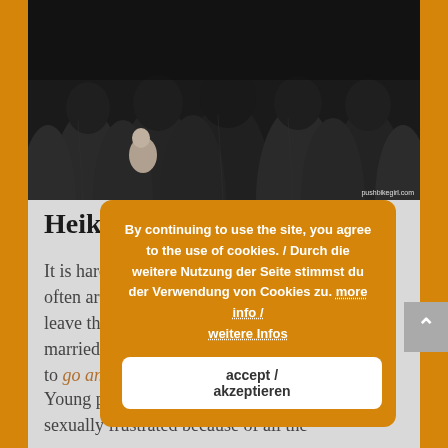[Figure (photo): Group of women from behind, all wearing black full-body coverings (niqab/abaya), with one small child visible. Watermark reads 'pushbikegirl.com']
Heike:
It is hard to observe how restricted women often are, such as women not being able to leave their parents' home until after they get married. In many places, they are not allowed to go anywhere without a male family member.
[Figure (infographic): Cookie consent overlay popup in orange/amber color. Text reads: 'By continuing to use the site, you agree to the use of cookies. / Durch die weitere Nutzung der Seite stimmst du der Verwendung von Cookies zu. more info / weitere Infos' with an 'accept / akzeptieren' button.]
Young people are frustrate because they are sexually frustrated because of all the